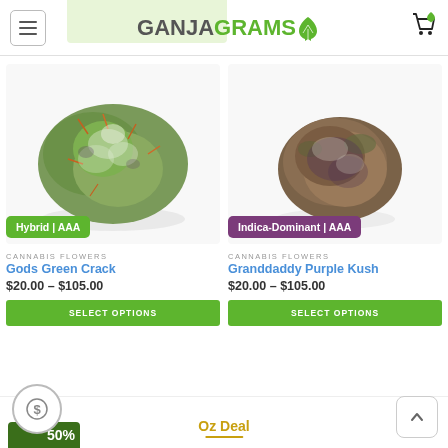GANJAGRAMS
[Figure (photo): Cannabis bud product photo for Gods Green Crack, green and frosty hybrid strain]
Hybrid | AAA
CANNABIS FLOWERS
Gods Green Crack
$20.00 – $105.00
SELECT OPTIONS
[Figure (photo): Cannabis bud product photo for Granddaddy Purple Kush, dense dark indica-dominant strain]
Indica-Dominant | AAA
CANNABIS FLOWERS
Granddaddy Purple Kush
$20.00 – $105.00
SELECT OPTIONS
Oz Deal
50%